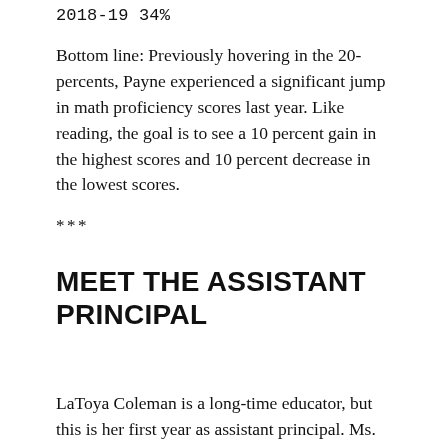2018-19 34%
Bottom line: Previously hovering in the 20-percents, Payne experienced a significant jump in math proficiency scores last year. Like reading, the goal is to see a 10 percent gain in the highest scores and 10 percent decrease in the lowest scores.
***
MEET THE ASSISTANT PRINCIPAL
LaToya Coleman is a long-time educator, but this is her first year as assistant principal. Ms. Coleman, a D.C. native, earned her undergraduate degree in criminal justice from Coppin State University in Baltimore, and her master's degree in criminal justice and